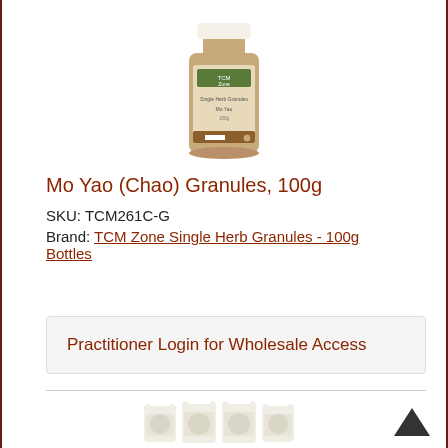[Figure (photo): TCM Zone Single Herb Granules product bottle (brown/tan colored, 100g)]
Mo Yao (Chao) Granules, 100g
SKU: TCM261C-G
Brand: TCM Zone Single Herb Granules - 100g Bottles
Practitioner Login for Wholesale Access
[Figure (photo): Four white bottles of TCM Zone Single Herb Granules product displayed in a row]